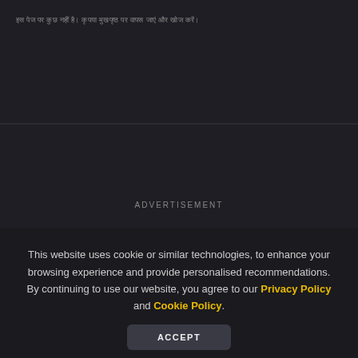इस वेबसाइट द्वारा कुकी या इसी तरह की प्रौद्योगिकियों का उपयोग किया जाता है
ADVERTISEMENT
This website uses cookie or similar technologies, to enhance your browsing experience and provide personalised recommendations. By continuing to use our website, you agree to our Privacy Policy and Cookie Policy.
ACCEPT